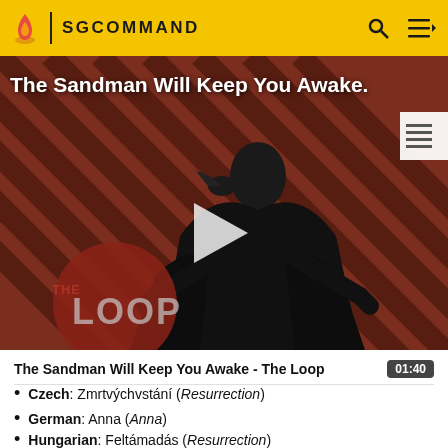SGCOMMAND
[Figure (screenshot): Video thumbnail for 'The Sandman Will Keep You Awake - The Loop' showing a dark figure in a black cloak against a red and black diagonal striped background, with 'THE LOOP' text logo at bottom left and a play button in the center.]
The Sandman Will Keep You Awake - The Loop  01:40
Czech: Zmrtvýchvstání (Resurrection)
German: Anna (Anna)
Hungarian: Feltámadás (Resurrection)